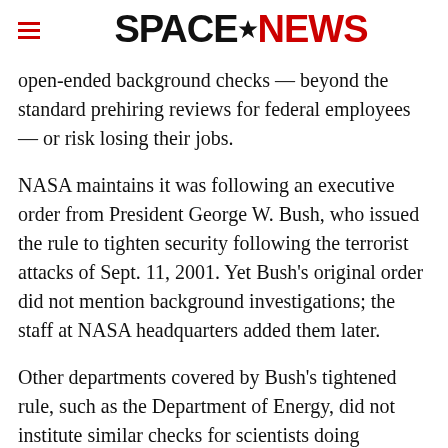SPACENEWS
open-ended background checks — beyond the standard prehiring reviews for federal employees — or risk losing their jobs.
NASA maintains it was following an executive order from President George W. Bush, who issued the rule to tighten security following the terrorist attacks of Sept. 11, 2001. Yet Bush's original order did not mention background investigations; the staff at NASA headquarters added them later.
Other departments covered by Bush's tightened rule, such as the Department of Energy, did not institute similar checks for scientists doing unclassified research, the NASA scientists say. Agreeing to these background checks would hand the government free rein to